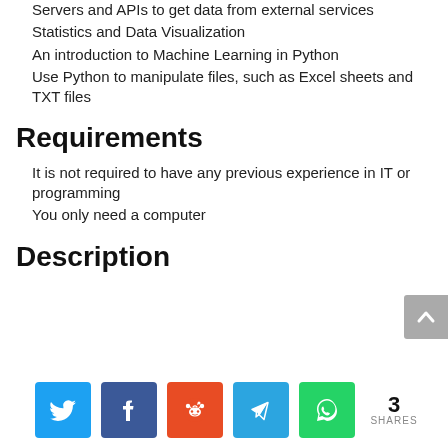Servers and APIs to get data from external services
Statistics and Data Visualization
An introduction to Machine Learning in Python
Use Python to manipulate files, such as Excel sheets and TXT files
Requirements
It is not required to have any previous experience in IT or programming
You only need a computer
Description
[Figure (infographic): Social sharing bar with Twitter, Facebook, Reddit, Telegram, WhatsApp icons and a share count of 3]